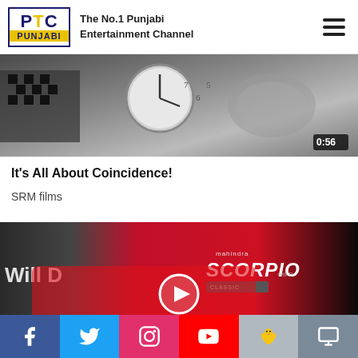PTC PUNJABI — The No.1 Punjabi Entertainment Channel
[Figure (screenshot): Video thumbnail showing clocks and a dark background with timestamp 0:56]
It's All About Coincidence!
SRM films
[Figure (screenshot): Video thumbnail showing a red Mahindra Scorpio Classic at a product launch event with a play button overlay]
Social media icons: Facebook, Twitter, Instagram, YouTube, ShareIt, TV